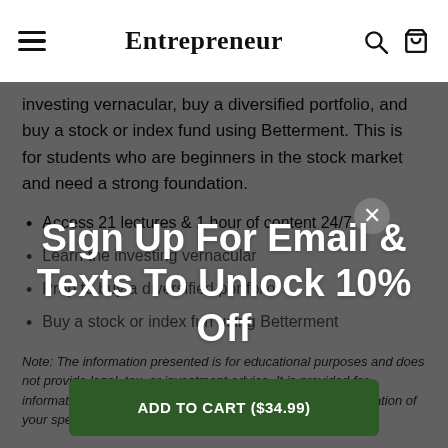Entrepreneur
investing vernacular, buy a diversified portfolio, and buy a stock or index fund using Betterment. This is for students who are beginners in the stock market and need a strong foundation.
Access 21 lectures & 1 hour of content 24/7
Learn the investing vernacular
Prep to buy a diversified portfolio
Buy a stock or index fun using Betterment
Note: The information presented is for educational purposes and does not provide legal, tax, or investment advice. It is provided for informational and educational purposes only without consideration of your specific situation.
Sign Up For Email & Texts To Unlock 10% Off
Get Discount
ADD TO CART ($34.99)